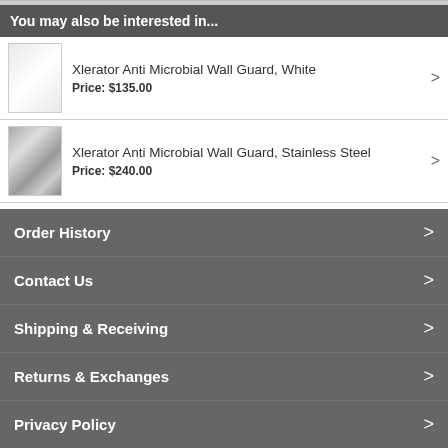You may also be interested in...
Xlerator Anti Microbial Wall Guard, White
Price: $135.00
Xlerator Anti Microbial Wall Guard, Stainless Steel
Price: $240.00
Order History
Contact Us
Shipping & Receiving
Returns & Exchanges
Privacy Policy
© 2022 Wildflower Meadows, LLC. All rights reserved.